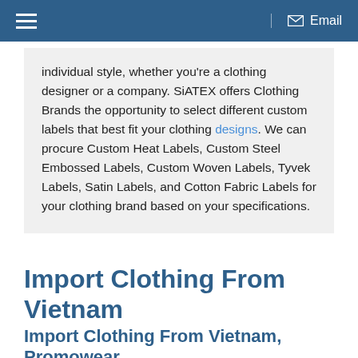Email
individual style, whether you're a clothing designer or a company. SiATEX offers Clothing Brands the opportunity to select different custom labels that best fit your clothing designs. We can procure Custom Heat Labels, Custom Steel Embossed Labels, Custom Woven Labels, Tyvek Labels, Satin Labels, and Cotton Fabric Labels for your clothing brand based on your specifications.
Import Clothing From Vietnam
Import Clothing From Vietnam, Promowear